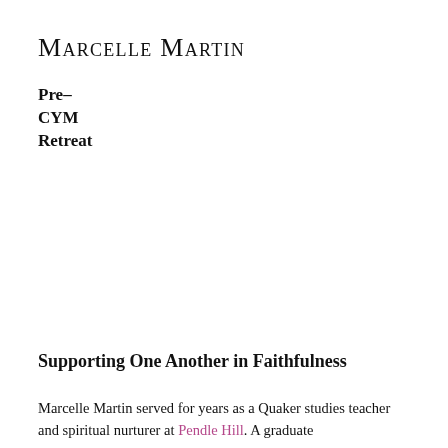Marcelle Martin
Pre-
CYM
Retreat
Supporting One Another in Faithfulness
Marcelle Martin served for years as a Quaker studies teacher and spiritual nurturer at Pendle Hill. A graduate...